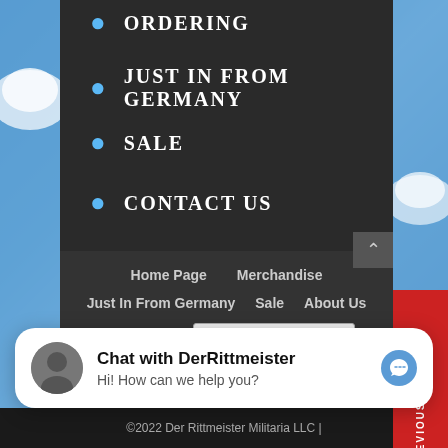ORDERING
JUST IN FROM GERMANY
SALE
CONTACT US
ABOUT US
Home Page   Merchandise   Just In From Germany   Sale   About Us   My Account   Select Language
PREVIOUS PAGE
Chat with DerRittmeister
Hi! How can we help you?
©2022 Der Rittmeister Militaria LLC |